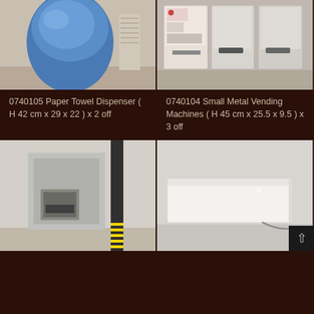[Figure (photo): Blue paper towel dispenser leaning against a wall]
[Figure (photo): Three small metal vending machines standing side by side]
0740105 Paper Towel Dispenser ( H 42 cm x 29 x 22 ) x 2 off
0740104 Small Metal Vending Machines ( H 45 cm x 25.5 x 9.5 ) x 3 off
[Figure (photo): Recessed metal paper towel dispenser mounted in wall]
[Figure (photo): White rectangular padded bench or cushion with cord]